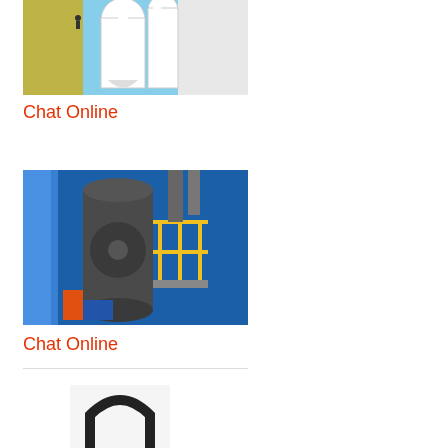[Figure (photo): Industrial milling/grinding equipment installation with white cylindrical structures and pipes against a blue sky, workers visible on scaffolding]
Chat Online
[Figure (photo): Industrial grinding mill installation with blue structural panels, yellow safety railings, and large cylindrical mill body with associated equipment and piping]
Chat Online
[Figure (photo): Partial view of industrial equipment, dark curved metal component visible at bottom of page]